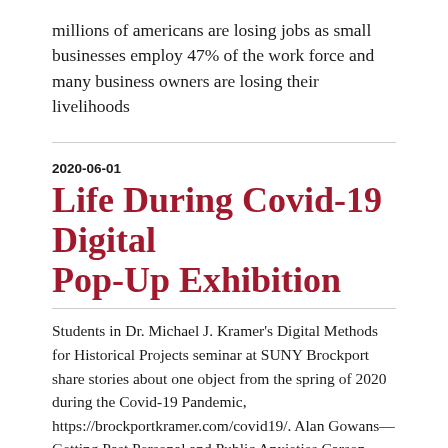millions of americans are losing jobs as small businesses employ 47% of the work force and many business owners are losing their livelihoods
2020-06-01
Life During Covid-19 Digital Pop-Up Exhibition
Students in Dr. Michael J. Kramer's Digital Methods for Historical Projects seminar at SUNY Brockport share stories about one object from the spring of 2020 during the Covid-19 Pandemic, https://brockportkramer.com/covid19/. Alan Gowans—Getting Past Personal and Public Anxieties Carson Werner—The Day Baseball Stood Still Cecil Frazier—Double Standards Gilberto Diaz III—Memes of